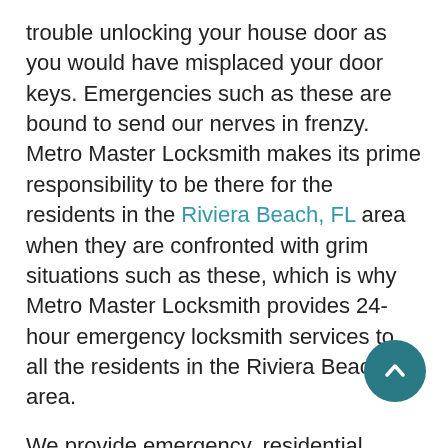trouble unlocking your house door as you would have misplaced your door keys. Emergencies such as these are bound to send our nerves in frenzy.  Metro Master Locksmith makes its prime responsibility to be there for the residents in the Riviera Beach, FL area when they are confronted with grim situations such as these, which is why Metro Master Locksmith provides 24-hour emergency locksmith services to all the residents in the Riviera Beach, FL area.
We provide emergency, residential, commercial and automotive locksmith services to every nook and corner of the locality. Regardless of what time or place the particular emergency locksmith issue occurs, Metro Master Locksmith will step in to help you in frustrating situations as such.
SECURITY PROFESSIONALS
There are over a hundred other locksmith services